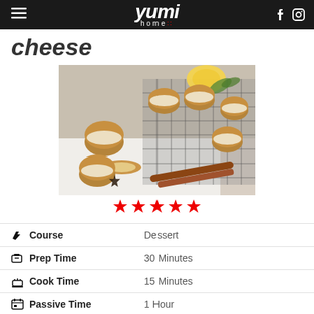yumi home
cheese
[Figure (photo): Mini sandwich cookies/whoopie pies filled with cream cheese frosting arranged on a wire cooling rack and white surface, with lemon slices, star anise, and cinnamon sticks as decoration]
★★★★★ (five star rating)
| Label | Value |
| --- | --- |
| Course | Dessert |
| Prep Time | 30 Minutes |
| Cook Time | 15 Minutes |
| Passive Time | 1 Hour |